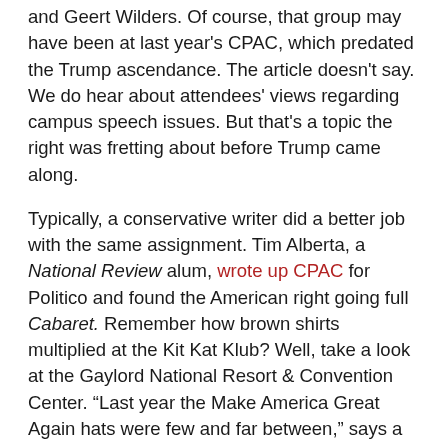and Geert Wilders. Of course, that group may have been at last year's CPAC, which predated the Trump ascendance. The article doesn't say. We do hear about attendees' views regarding campus speech issues. But that's a topic the right was fretting about before Trump came along.
Typically, a conservative writer did a better job with the same assignment. Tim Alberta, a National Review alum, wrote up CPAC for Politico and found the American right going full Cabaret. Remember how brown shirts multiplied at the Kit Kat Klub? Well, take a look at the Gaylord National Resort & Convention Center. "Last year the Make America Great Again hats were few and far between," says a young attendee. "Now they're everywhere. Last year the speakers were attacking him and now everyone's done a full 180. They're all on the bandwagon. Everything has changed." The article